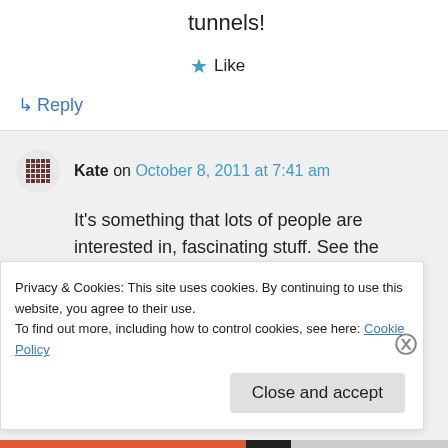tunnels!
★ Like
↳ Reply
Kate on October 8, 2011 at 7:41 am
It's something that lots of people are interested in, fascinating stuff. See the update re. Gaia Lane?
I've read about Cannock Minors being used
Privacy & Cookies: This site uses cookies. By continuing to use this website, you agree to their use.
To find out more, including how to control cookies, see here: Cookie Policy
Close and accept